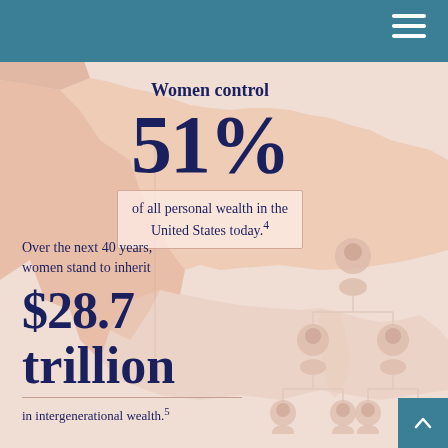Women control 51% of all personal wealth in the United States today.
Women control
51%
of all personal wealth in the United States today.⁴
Over the next 40 years, women stand to inherit
$28.7 trillion
in intergenerational wealth.⁵
[Figure (infographic): Simplified US map silhouette in peach/salmon tones as background, with an organizational/family tree chart showing three generations of silhouette figures on the right side, illustrating wealth inheritance across generations.]